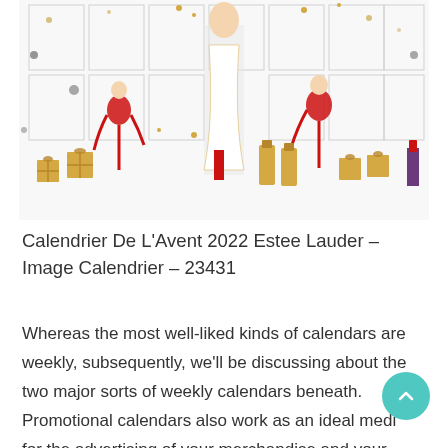[Figure (illustration): Decorative holiday/Christmas themed illustration featuring fashion figures in red dresses with gold gift boxes, perfume bottles, and beauty products against a white background with gold dots and decorative elements. Estee Lauder advent calendar imagery.]
Calendrier De L&#039;Avent 2022 Estee Lauder – Image Calendrier – 23431
Whereas the most well-liked kinds of calendars are weekly, subsequently, we'll be discussing about the two major sorts of weekly calendars beneath. Promotional calendars also work as an ideal medium for the advertising of your merchandise and your